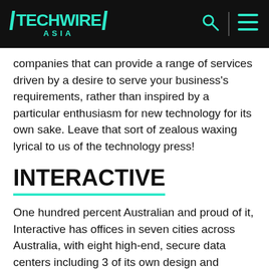TECHWIRE ASIA
companies that can provide a range of services driven by a desire to serve your business’s requirements, rather than inspired by a particular enthusiasm for new technology for its own sake. Leave that sort of zealous waxing lyrical to us of the technology press!
INTERACTIVE
One hundred percent Australian and proud of it, Interactive has offices in seven cities across Australia, with eight high-end, secure data centers including 3 of its own design and construction. The company’s 560+ staff and engineers provide friendly, local support 24/7 for its clients, which